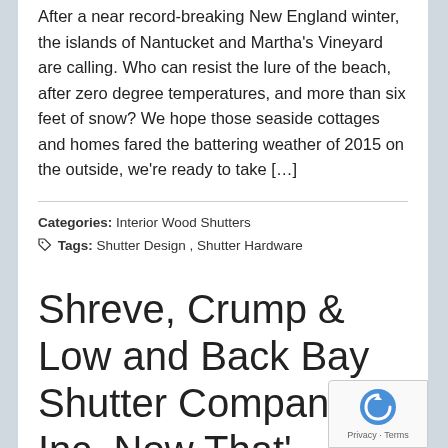After a near record-breaking New England winter, the islands of Nantucket and Martha's Vineyard are calling. Who can resist the lure of the beach, after zero degree temperatures, and more than six feet of snow? We hope those seaside cottages and homes fared the battering weather of 2015 on the outside, we're ready to take […]
Categories: Interior Wood Shutters
Tags: Shutter Design, Shutter Hardware
Shreve, Crump & Low and Back Bay Shutter Company, Inc. Now That's a Perfect Pair